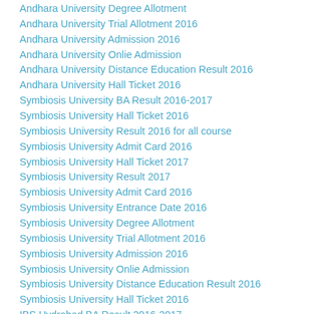Andhara University Degree Allotment
Andhara University Trial Allotment 2016
Andhara University Admission 2016
Andhara University Onlie Admission
Andhara University Distance Education Result 2016
Andhara University Hall Ticket 2016
Symbiosis University BA Result 2016-2017
Symbiosis University Hall Ticket 2016
Symbiosis University Result 2016 for all course
Symbiosis University Admit Card 2016
Symbiosis University Hall Ticket 2017
Symbiosis University Result 2017
Symbiosis University Admit Card 2016
Symbiosis University Entrance Date 2016
Symbiosis University Degree Allotment
Symbiosis University Trial Allotment 2016
Symbiosis University Admission 2016
Symbiosis University Onlie Admission
Symbiosis University Distance Education Result 2016
Symbiosis University Hall Ticket 2016
IBS Hydrabad BA Result 2016-2017
IBS Hydrabad Hall Ticket 2016
IBS Hydrabad Result 2016 for all course